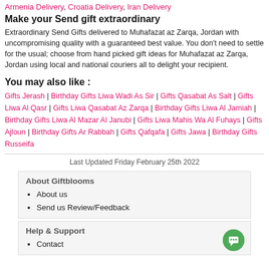Armenia Delivery, Croatia Delivery, Iran Delivery
Make your Send gift extraordinary
Extraordinary Send Gifts delivered to Muhafazat az Zarqa, Jordan with uncompromising quality with a guaranteed best value. You don't need to settle for the usual; choose from hand picked gift ideas for Muhafazat az Zarqa, Jordan using local and national couriers all to delight your recipient.
You may also like :
Gifts Jerash | Birthday Gifts Liwa Wadi As Sir | Gifts Qasabat As Salt | Gifts Liwa Al Qasr | Gifts Liwa Qasabat Az Zarqa | Birthday Gifts Liwa Al Jamiah | Birthday Gifts Liwa Al Mazar Al Janubi | Gifts Liwa Mahis Wa Al Fuhays | Gifts Ajloun | Birthday Gifts Ar Rabbah | Gifts Qafqafa | Gifts Jawa | Birthday Gifts Russeifa
Last Updated Friday February 25th 2022
About Giftblooms
About us
Send us Review/Feedback
Help & Support
Contact